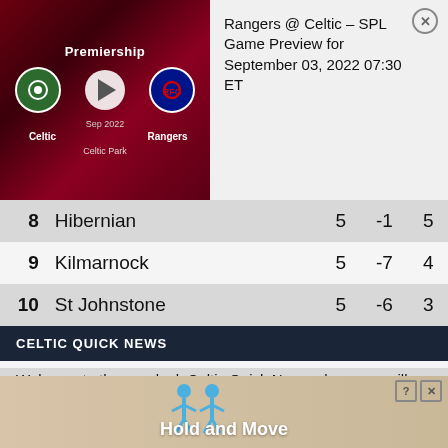[Figure (screenshot): Video thumbnail showing Celtic vs Rangers Premiership match preview with team logos and play button, with overlay text: Rangers @ Celtic – SPL Game Preview for September 03, 2022 07:30 ET]
| # | Team | GP | GD | Pts |
| --- | --- | --- | --- | --- |
| 8 | Hibernian | 5 | -1 | 5 |
| 9 | Kilmarnock | 5 | -7 | 4 |
| 10 | St Johnstone | 5 | -6 | 3 |
| 11 | Ross County | 5 | -7 | 3 |
| 12 | Dundee Utd | 5 | -16 | 1 |
CELTIC QUICK NEWS
Welcome to the new look Celtic Quick News where you will find the latest Celtic news and features, posted 365 days a year! You can joi… r say below… ation please…